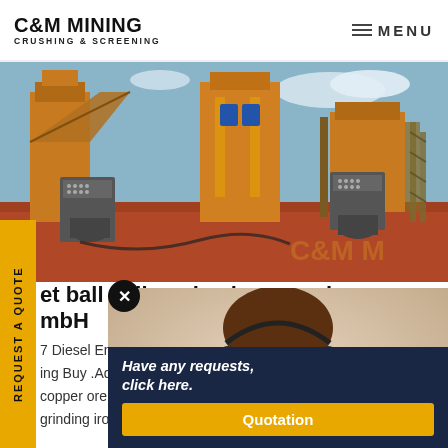C&M MINING CRUSHING & SCREENING | MENU
[Figure (photo): Industrial mining crushing and screening equipment — large orange steel structures with conveyor belts, control boxes, and motors on red dirt ground under a partly cloudy sky.]
et ball mill engine how much mbH
7 Diesel Engine Wet Pan Mill Mo... ing Buy .Add to Compare . hot s copper ore gold ore wet ball mill w grinding iron ore used for mining e
[Figure (photo): Customer service agent — a smiling young woman wearing a headset microphone, with a chat bubble icon overlay on the right. Overlay panel reads: Have any requests, click here. Quotation button below.]